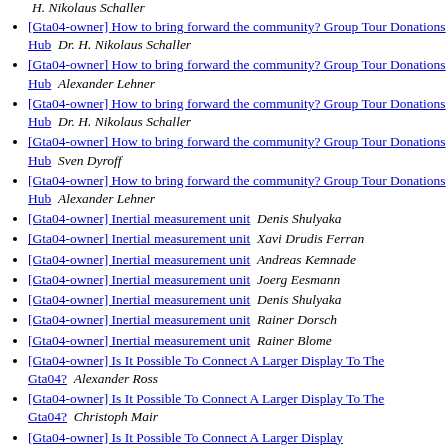H. Nikolaus Schaller
[Gta04-owner] How to bring forward the community? Group Tour Donations Hub   Dr. H. Nikolaus Schaller
[Gta04-owner] How to bring forward the community? Group Tour Donations Hub   Alexander Lehner
[Gta04-owner] How to bring forward the community? Group Tour Donations Hub   Dr. H. Nikolaus Schaller
[Gta04-owner] How to bring forward the community? Group Tour Donations Hub   Sven Dyroff
[Gta04-owner] How to bring forward the community? Group Tour Donations Hub   Alexander Lehner
[Gta04-owner] Inertial measurement unit   Denis Shulyaka
[Gta04-owner] Inertial measurement unit   Xavi Drudis Ferran
[Gta04-owner] Inertial measurement unit   Andreas Kemnade
[Gta04-owner] Inertial measurement unit   Joerg Eesmann
[Gta04-owner] Inertial measurement unit   Denis Shulyaka
[Gta04-owner] Inertial measurement unit   Rainer Dorsch
[Gta04-owner] Inertial measurement unit   Rainer Blome
[Gta04-owner] Is It Possible To Connect A Larger Display To The Gta04?   Alexander Ross
[Gta04-owner] Is It Possible To Connect A Larger Display To The Gta04?   Christoph Mair
[Gta04-owner] Is It Possible To Connect A Larger Display To The Gta04?